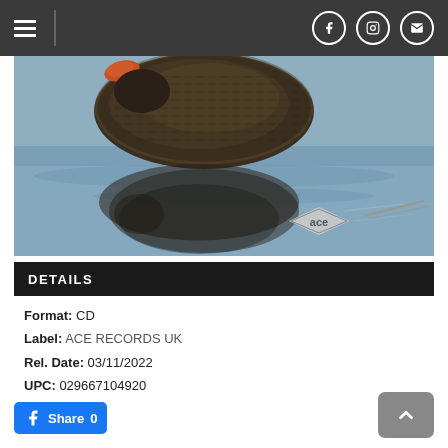Navigation bar with hamburger menu and social icons (Facebook, Instagram, Email)
[Figure (photo): A duck (dark brown/black plumage) swimming on water, shown from above with its reflection visible in the water below. An orange beak visible top-left. ACE Records watermark logo in bottom-right corner of photo.]
DETAILS
Format: CD
Label: ACE RECORDS UK
Rel. Date: 03/11/2022
UPC: 029667104920
Share 0